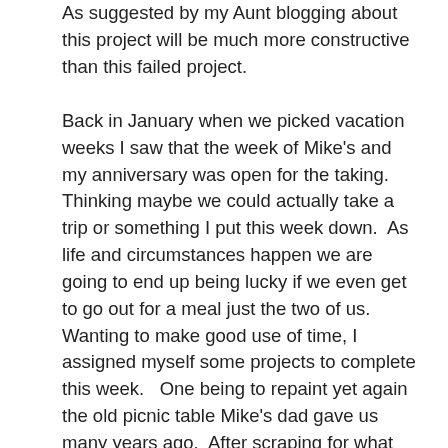As suggested by my Aunt blogging about this project will be much more constructive than this failed project.
Back in January when we picked vacation weeks I saw that the week of Mike's and my anniversary was open for the taking.  Thinking maybe we could actually take a trip or something I put this week down.  As life and circumstances happen we are going to end up being lucky if we even get to go out for a meal just the two of us.  Wanting to make good use of time, I assigned myself some projects to complete this week.   One being to repaint yet again the old picnic table Mike's dad gave us many years ago.  After scraping for what seemed like an eternity I moved to a power sander, scraping more, power sanding more.  The paint peel seemed to just keep growing worse.   I then tried power washing which wasn't much help then we ran out of